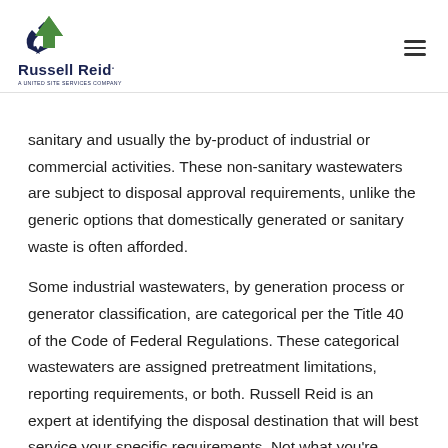[Figure (logo): Russell Reid logo — tree/recycle icon in dark blue and green, company name 'Russell Reid.' in dark blue bold, subtitle 'a United Site Services company' in small dark blue text]
sanitary and usually the by-product of industrial or commercial activities. These non-sanitary wastewaters are subject to disposal approval requirements, unlike the generic options that domestically generated or sanitary waste is often afforded.
Some industrial wastewaters, by generation process or generator classification, are categorical per the Title 40 of the Code of Federal Regulations. These categorical wastewaters are assigned pretreatment limitations, reporting requirements, or both. Russell Reid is an expert at identifying the disposal destination that will best service your specific requirements. Not what you're looking for? View other Transportation &